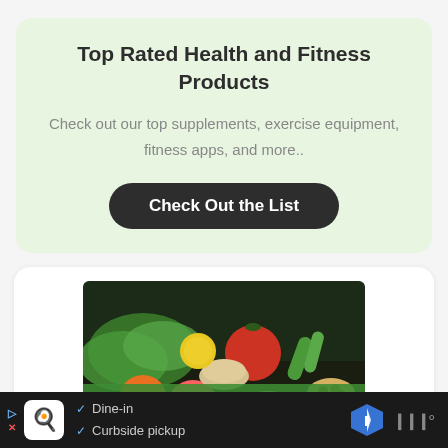Top Rated Health and Fitness Products
Check out our top supplements, exercise equipment, fitness apps, and more..
Check Out the List
[Figure (photo): Photo of colorful vegetables, fruits, nuts and grains arranged on a dark surface with a green banner reading CUSTOM MEAL PLANS]
Dine-in | Curbside pickup (ad bar)